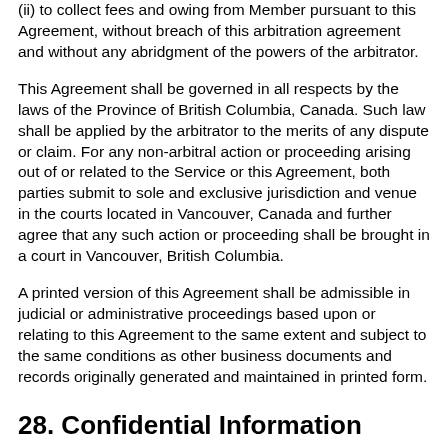(ii) to collect fees and owing from Member pursuant to this Agreement, without breach of this arbitration agreement and without any abridgment of the powers of the arbitrator.
This Agreement shall be governed in all respects by the laws of the Province of British Columbia, Canada. Such law shall be applied by the arbitrator to the merits of any dispute or claim. For any non-arbitral action or proceeding arising out of or related to the Service or this Agreement, both parties submit to sole and exclusive jurisdiction and venue in the courts located in Vancouver, Canada and further agree that any such action or proceeding shall be brought in a court in Vancouver, British Columbia.
A printed version of this Agreement shall be admissible in judicial or administrative proceedings based upon or relating to this Agreement to the same extent and subject to the same conditions as other business documents and records originally generated and maintained in printed form.
28. Confidential Information
"Confidential Information" is any data or information, oral or written, treated as confidential that relates to either party's (or, if either party is bound to protect the confidentiality of